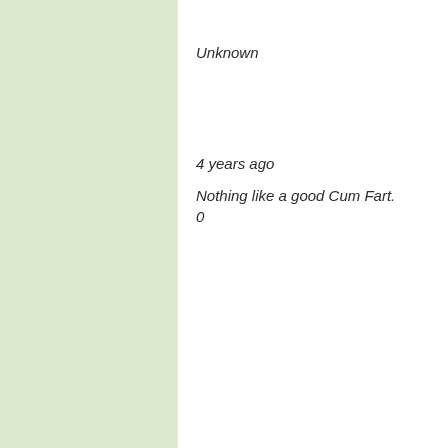Unknown
4 years ago
Nothing like a good Cum Fart.
0